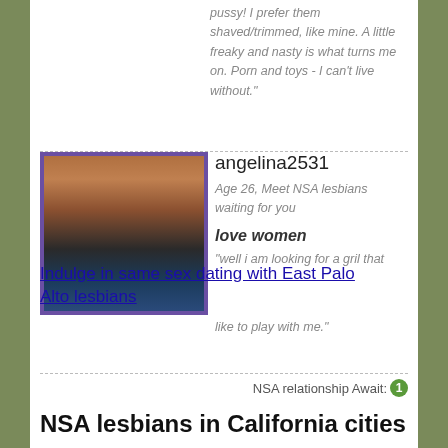pussy! I prefer them shaved/trimmed, like mine. A little freaky and nasty is what turns me on. Porn and toys - I can't live without."
[Figure (photo): Profile photo of a woman in a dark top leaning forward, with wood-paneled background, framed with purple border]
angelina2531
Age 26, Meet NSA lesbians waiting for you
love women
"well i am looking for a gril that
Indulge in same sex dating with East Palo Alto lesbians
like to play with me."
NSA relationship Await: 1
NSA lesbians in California cities